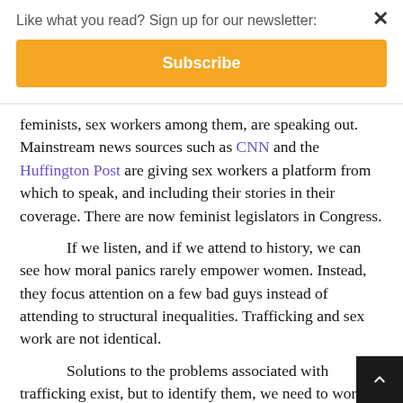Like what you read? Sign up for our newsletter:
Subscribe
feminists, sex workers among them, are speaking out. Mainstream news sources such as CNN and the Huffington Post are giving sex workers a platform from which to speak, and including their stories in their coverage. There are now feminist legislators in Congress.
If we listen, and if we attend to history, we can see how moral panics rarely empower women. Instead, they focus attention on a few bad guys instead of attending to structural inequalities. Trafficking and sex work are not identical.
Solutions to the problems associated with trafficking exist, but to identify them, we need to work towards a world in which sex is not steeped in hierarchy, where equal opportunity is more than a pipe dream. Only then will engaging in sex work truly be a choice. To get there, we need to find a way to restore and protect the free excha